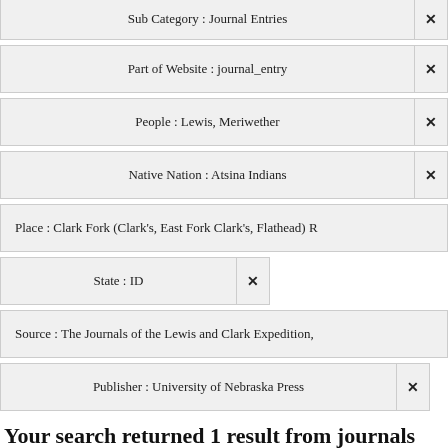Sub Category : Journal Entries ×
Part of Website : journal_entry ×
People : Lewis, Meriwether ×
Native Nation : Atsina Indians ×
Place : Clark Fork (Clark's, East Fork Clark's, Flathead) R…
State : ID ×
Source : The Journals of the Lewis and Clark Expedition,…
Publisher : University of Nebraska Press ×
Your search returned 1 result from journals  Search All Items